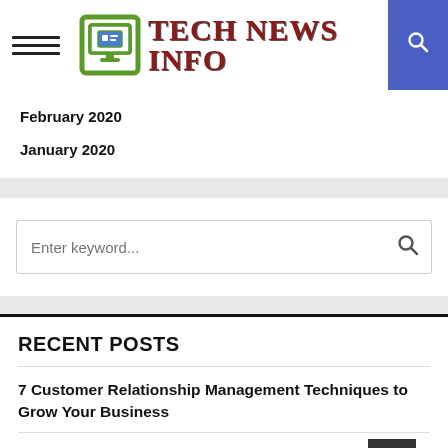TECH NEWS INFO
February 2020
January 2020
Enter keyword...
RECENT POSTS
7 Customer Relationship Management Techniques to Grow Your Business
Samsung Blockchain Keystore Adds Another Level To The Mobile Revolution
Ways To Ensure Your Protected From Hackers: Tips to Keep